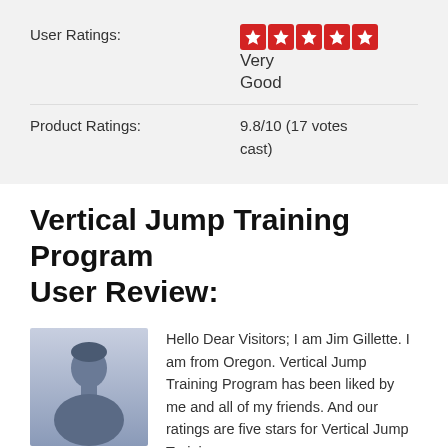User Ratings: Very Good (5 stars)
Product Ratings: 9.8/10 (17 votes cast)
Vertical Jump Training Program User Review:
[Figure (illustration): Generic avatar/silhouette of a person, grey-blue tones, used as user profile image]
Hello Dear Visitors; I am Jim Gillette. I am from Oregon. Vertical Jump Training Program has been liked by me and all of my friends. And our ratings are five stars for Vertical Jump Training